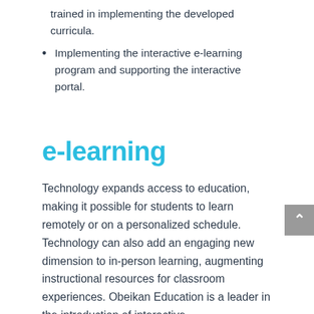trained in implementing the developed curricula.
Implementing the interactive e-learning program and supporting the interactive portal.
e-learning
Technology expands access to education, making it possible for students to learn remotely or on a personalized schedule. Technology can also add an engaging new dimension to in-person learning, augmenting instructional resources for classroom experiences. Obeikan Education is a leader in the introduction of interactive,